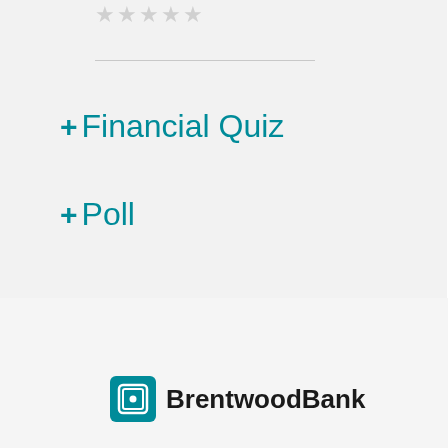[Figure (other): Five empty/outline star rating icons in light gray]
+ Financial Quiz
+ Poll
[Figure (logo): BrentwoodBank logo with teal square icon containing a bank/card symbol and bold text 'BrentwoodBank']